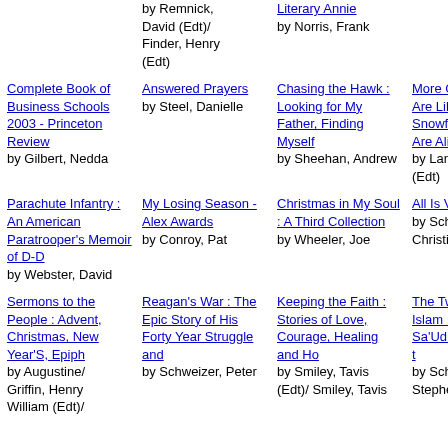by Remnick, David (Edt)/ Finder, Henry (Edt)
Literary Annie [link]
by Norris, Frank
Complete Book of Business Schools 2003 - Princeton Review
by Gilbert, Nedda
Answered Prayers
by Steel, Danielle
Chasing the Hawk : Looking for My Father, Finding Myself
by Sheehan, Andrew
More Grandmothers Are Like Snowflakes...No Two Are Alike
by Lanese, Janet (Edt)
Parachute Infantry : An American Paratrooper's Memoir of D-D
by Webster, David
My Losing Season - Alex Awards
by Conroy, Pat
Christmas in My Soul : A Third Collection
by Wheeler, Joe
All Is Vanity
by Schwarz, Christina
Sermons to the People : Advent, Christmas, New Year'S, Epiph
by Augustine/ Griffin, Henry William (Edt)/
Reagan's War : The Epic Story of His Forty Year Struggle and
by Schweizer, Peter
Keeping the Faith : Stories of Love, Courage, Healing and Ho
by Smiley, Tavis (Edt)/ Smiley, Tavis
The Two Faces of Islam : The House of Sa'Ud from Tradition t
by Schwartz, Stephen